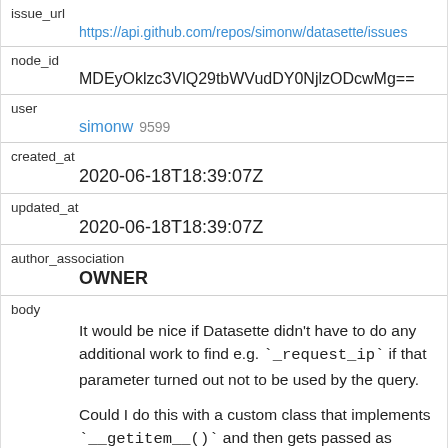| issue_url | https://api.github.com/repos/simonw/datasette/issues… |
| node_id | MDEyOklzc3VlQ29tbWVudDY0NjlzODcwMg== |
| user | simonw 9599 |
| created_at | 2020-06-18T18:39:07Z |
| updated_at | 2020-06-18T18:39:07Z |
| author_association | OWNER |
| body | It would be nice if Datasette didn't have to do any additional work to find e.g. `_request_ip` if that parameter turned out not to be used by the query.

Could I do this with a custom class that implements `__getitem__()` and then gets passed as SQLite arguments? |